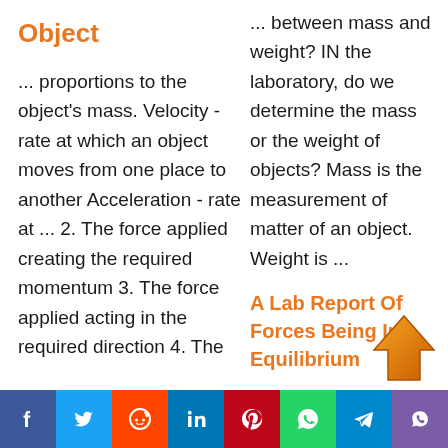Object
... proportions to the object's mass. Velocity - rate at which an object moves from one place to another Acceleration - rate at ... 2. The force applied creating the required momentum 3. The force applied acting in the required direction 4. The
... between mass and weight? IN the laboratory, do we determine the mass or the weight of objects? Mass is the measurement of matter of an object. Weight is ...
A Lab Report Of Forces Being In Equilibrium
... Procedure: A) Put
[Figure (logo): Orange upload arrow icon]
Facebook Twitter Reddit LinkedIn Pinterest WhatsApp Telegram Viber